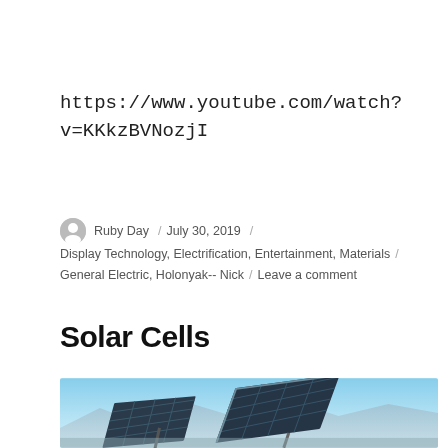https://www.youtube.com/watch?v=KKkzBVNozjI
Ruby Day / July 30, 2019 / Display Technology, Electrification, Entertainment, Materials / General Electric, Holonyak-- Nick / Leave a comment
Solar Cells
[Figure (photo): Photograph of solar panels angled toward the sky with mountains and blue sky in the background]